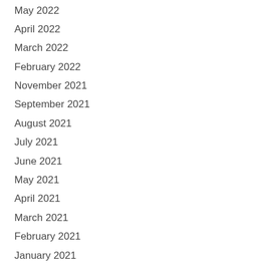May 2022
April 2022
March 2022
February 2022
November 2021
September 2021
August 2021
July 2021
June 2021
May 2021
April 2021
March 2021
February 2021
January 2021
December 2020